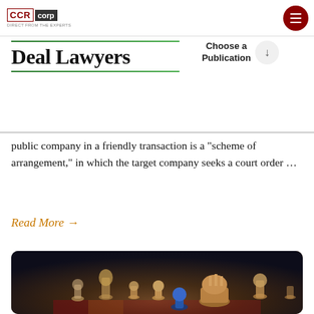CCR corp
Deal Lawyers
Choose a Publication
public company in a friendly transaction is a “scheme of arrangement,” in which the target company seeks a court order …
Read More →
[Figure (photo): Close-up photograph of chess pieces on a board, showing wooden chess pieces with a fallen blue piece in the foreground, dark background]